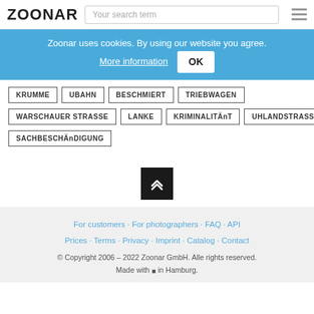ZOONAR | Your search term
Zoonar uses cookies. By using our website you agree. More information OK
KRUMME
UBAHN
BESCHMIERT
TRIEBWAGEN
WARSCHAUER STRASSE
LANKE
KRIMINALITÄnT
UHLANDSTRASSE
SACHBESCHÄnDIGUNG
For customers · For photographers · FAQ · API · Prices · Terms · Privacy · Imprint · Catalog · Contact · © Copyright 2006 – 2022 Zoonar GmbH. Alle rights reserved. Made with ♥ in Hamburg.